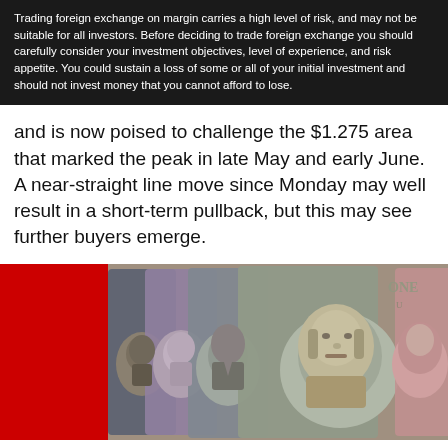Trading foreign exchange on margin carries a high level of risk, and may not be suitable for all investors. Before deciding to trade foreign exchange you should carefully consider your investment objectives, level of experience, and risk appetite. You could sustain a loss of some or all of your initial investment and should not invest money that you cannot afford to lose.
and is now poised to challenge the $1.275 area that marked the peak in late May and early June. A near-straight line move since Monday may well result in a short-term pullback, but this may see further buyers emerge.
[Figure (photo): Photo of multiple rolled-up currency banknotes standing side by side, showing portraits of various world leaders/figures. Includes what appears to be Chinese yuan, British pound, Japanese yen, US dollar (Benjamin Franklin), and Chinese yuan. A solid red rectangle covers the left portion of the image.]
Start trading forex today